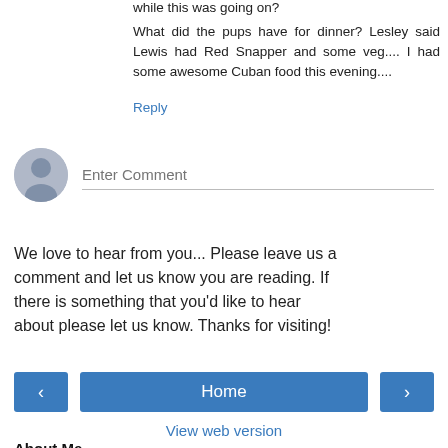while this was going on?
What did the pups have for dinner? Lesley said Lewis had Red Snapper and some veg.... I had some awesome Cuban food this evening....
Reply
[Figure (other): User avatar placeholder icon (grey circle with person silhouette) and Enter Comment input field]
We love to hear from you... Please leave us a comment and let us know you are reading. If there is something that you'd like to hear about please let us know. Thanks for visiting!
[Figure (other): Navigation buttons: left arrow button, Home button, right arrow button]
View web version
About Me